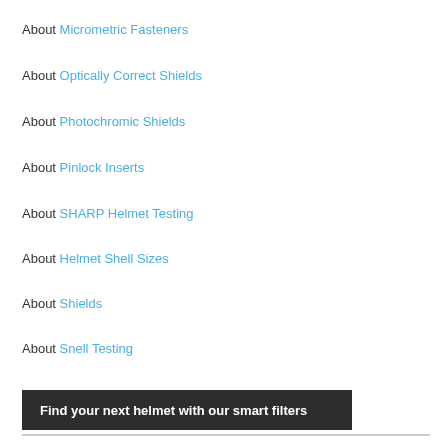About Micrometric Fasteners
About Optically Correct Shields
About Photochromic Shields
About Pinlock Inserts
About SHARP Helmet Testing
About Helmet Shell Sizes
About Shields
About Snell Testing
Find your next helmet with our smart filters